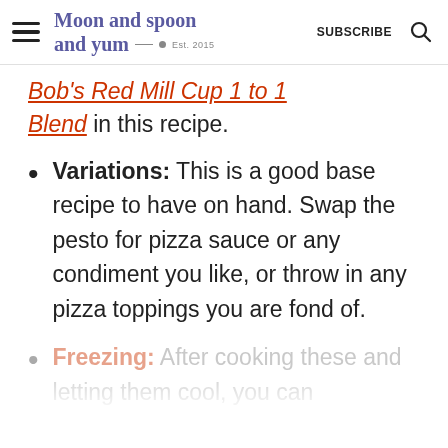Moon and spoon and yum — Est. 2015 | SUBSCRIBE
Bob's Red Mill Cup 1 to 1 Blend in this recipe.
Variations: This is a good base recipe to have on hand. Swap the pesto for pizza sauce or any condiment you like, or throw in any pizza toppings you are fond of.
Freezing: After cooking these and letting them cool, you can